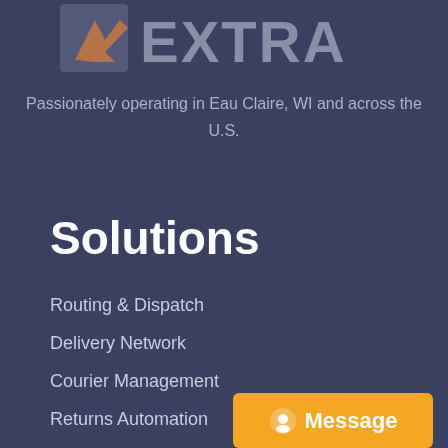[Figure (logo): EXTRA logo with stylized arrow/bird icon on the left and large 'EXTRA' text in gray on the right]
Passionately operating in Eau Claire, WI and across the U.S.
Solutions
Routing & Dispatch
Delivery Network
Courier Management
Returns Automation
[Figure (other): Orange 'Message' button with alien/chat icon in bottom right corner]